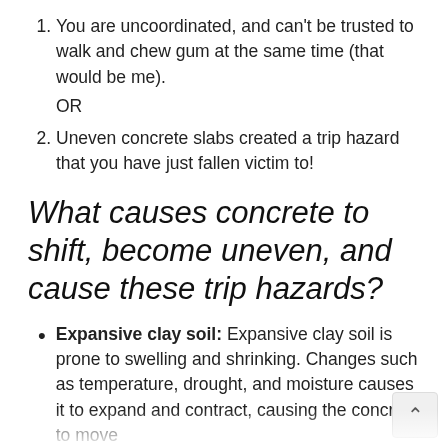1. You are uncoordinated, and can't be trusted to walk and chew gum at the same time (that would be me).
OR
2. Uneven concrete slabs created a trip hazard that you have just fallen victim to!
What causes concrete to shift, become uneven, and cause these trip hazards?
Expansive clay soil: Expansive clay soil is prone to swelling and shrinking. Changes such as temperature, drought, and moisture causes it to expand and contract, causing the concrete to move